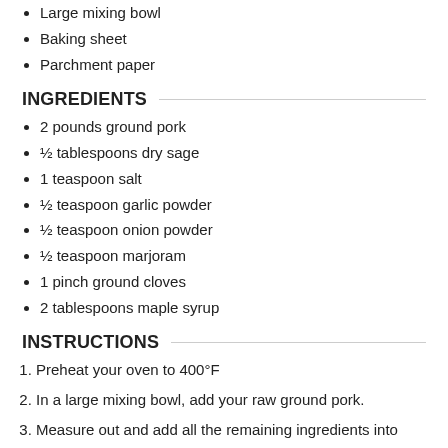Large mixing bowl
Baking sheet
Parchment paper
INGREDIENTS
2 pounds ground pork
½ tablespoons dry sage
1 teaspoon salt
½ teaspoon garlic powder
½ teaspoon onion powder
½ teaspoon marjoram
1 pinch ground cloves
2 tablespoons maple syrup
INSTRUCTIONS
1. Preheat your oven to 400°F
2. In a large mixing bowl, add your raw ground pork.
3. Measure out and add all the remaining ingredients into